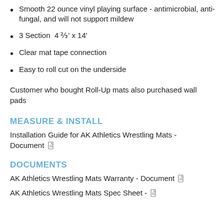Smooth 22 ounce vinyl playing surface - antimicrobial, anti-fungal, and will not support mildew
3 Section  4 ⅔' x 14'
Clear mat tape connection
Easy to roll cut on the underside
Customer who bought Roll-Up mats also purchased wall pads
MEASURE & INSTALL
Installation Guide for AK Athletics Wrestling Mats - Document
DOCUMENTS
AK Athletics Wrestling Mats Warranty - Document
AK Athletics Wrestling Mats Spec Sheet -